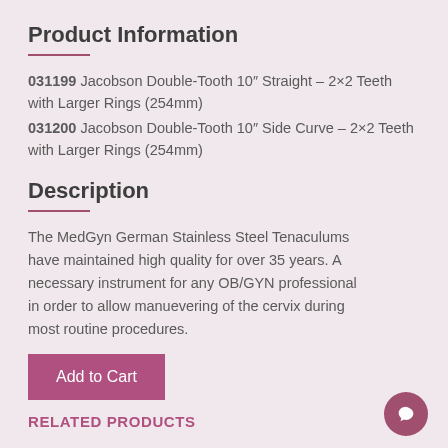Product Information
031199 Jacobson Double-Tooth 10″ Straight – 2×2 Teeth with Larger Rings (254mm)
031200 Jacobson Double-Tooth 10″ Side Curve – 2×2 Teeth with Larger Rings (254mm)
Description
The MedGyn German Stainless Steel Tenaculums have maintained high quality for over 35 years. A necessary instrument for any OB/GYN professional in order to allow manuevering of the cervix during most routine procedures.
Add to Cart
RELATED PRODUCTS